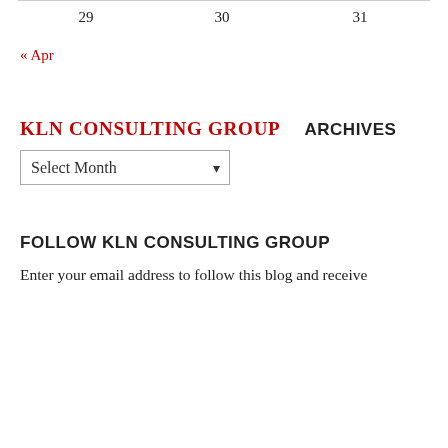| 29 | 30 | 31 |
« Apr
KLN CONSULTING GROUP
ARCHIVES
Select Month
FOLLOW KLN CONSULTING GROUP
Enter your email address to follow this blog and receive